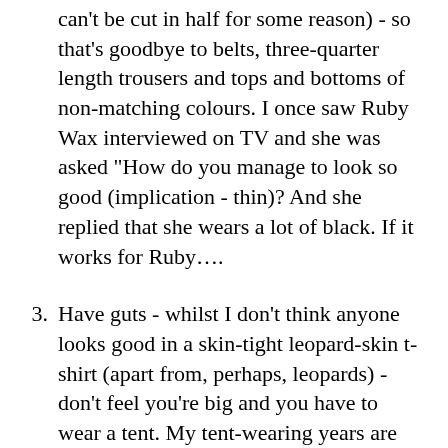can't be cut in half for some reason) - so that's goodbye to belts, three-quarter length trousers and tops and bottoms of non-matching colours. I once saw Ruby Wax interviewed on TV and she was asked "How do you manage to look so good (implication - thin)? And she replied that she wears a lot of black. If it works for Ruby….
3. Have guts - whilst I don't think anyone looks good in a skin-tight leopard-skin t-shirt (apart from, perhaps, leopards) - don't feel you're big and you have to wear a tent. My tent-wearing years are over,